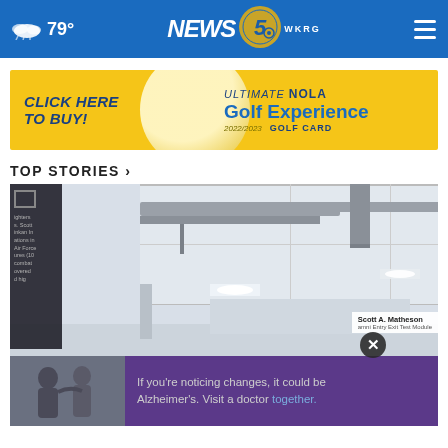WKRG News 5 — 79° weather, navigation header
[Figure (illustration): Advertisement banner: CLICK HERE TO BUY! ULTIMATE NOLA Golf Experience 2022/2023 GOLF CARD]
TOP STORIES ›
[Figure (photo): Industrial interior ceiling photo with ducts and lighting. Side panel, sponsor overlay for Scott A. Matheson, close button, bottom strip with two people and purple overlay text about Alzheimer's awareness.]
If you're noticing changes, it could be Alzheimer's. Visit a doctor together.